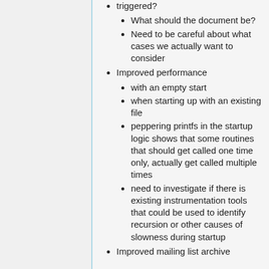triggered?
What should the document be?
Need to be careful about what cases we actually want to consider
Improved performance
with an empty start
when starting up with an existing file
peppering printfs in the startup logic shows that some routines that should get called one time only, actually get called multiple times
need to investigate if there is existing instrumentation tools that could be used to identify recursion or other causes of slowness during startup
Improved mailing list archive